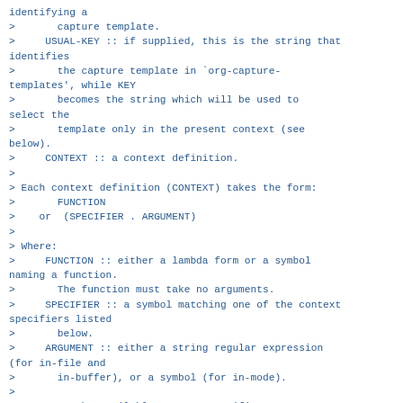identifying a
>       capture template.
>     USUAL-KEY :: if supplied, this is the string that identifies
>       the capture template in `org-capture-templates', while KEY
>       becomes the string which will be used to select the
>       template only in the present context (see below).
>     CONTEXT :: a context definition.
>
> Each context definition (CONTEXT) takes the form:
>       FUNCTION
>    or  (SPECIFIER . ARGUMENT)
>
> Where:
>     FUNCTION :: either a lambda form or a symbol naming a function.
>       The function must take no arguments.
>     SPECIFIER :: a symbol matching one of the context specifiers listed
>       below.
>     ARGUMENT :: either a string regular expression (for in-file and
>       in-buffer), or a symbol (for in-mode).
>
> Here are the available context specifiers:
>
>       in-file: command displayed in files matching